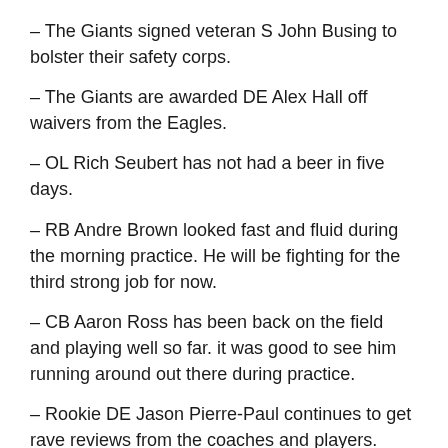– The Giants signed veteran S John Busing to bolster their safety corps.
– The Giants are awarded DE Alex Hall off waivers from the Eagles.
– OL Rich Seubert has not had a beer in five days.
– RB Andre Brown looked fast and fluid during the morning practice. He will be fighting for the third strong job for now.
– CB Aaron Ross has been back on the field and playing well so far. it was good to see him running around out there during practice.
– Rookie DE Jason Pierre-Paul continues to get rave reviews from the coaches and players.